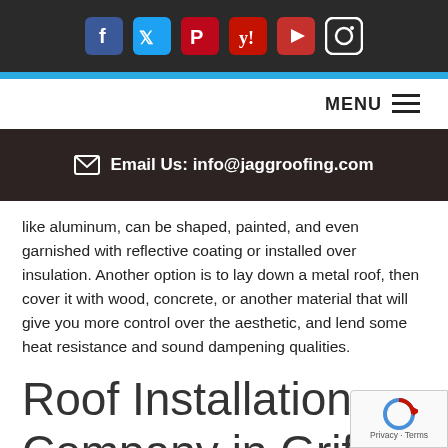Social media icons: Facebook, Twitter, Pinterest, Yelp, YouTube, Instagram
MENU
✉ Email Us: info@jaggroofing.com
like aluminum, can be shaped, painted, and even garnished with reflective coating or installed over insulation. Another option is to lay down a metal roof, then cover it with wood, concrete, or another material that will give you more control over the aesthetic, and lend some heat resistance and sound dampening qualities.
Roof Installation Company in Griffin